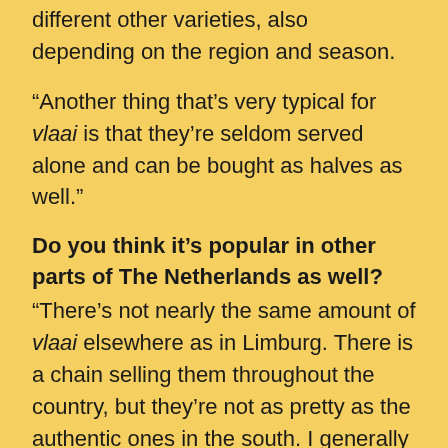different other varieties, also depending on the region and season.
“Another thing that’s very typical for vlaai is that they’re seldom served alone and can be bought as halves as well.”
Do you think it’s popular in other parts of The Netherlands as well?
“There’s not nearly the same amount of vlaai elsewhere as in Limburg. There is a chain selling them throughout the country, but they’re not as pretty as the authentic ones in the south. I generally think that vlaai is popular everywhere in the country, but seen as something for special occasions outside of Limburg. In Limburg it’s way